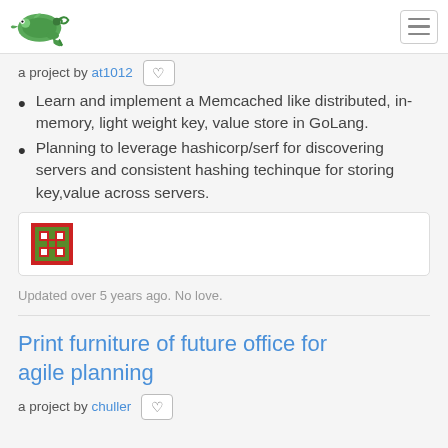openSUSE project listing page header with logo and hamburger menu
a project by at1012 ♡
Learn and implement a Memcached like distributed, in-memory, light weight key, value store in GoLang.
Planning to leverage hashicorp/serf for discovering servers and consistent hashing techinque for storing key,value across servers.
[Figure (screenshot): Repository icon — red/green pixel-art style image]
Updated over 5 years ago. No love.
Print furniture of future office for agile planning
a project by chuller ♡